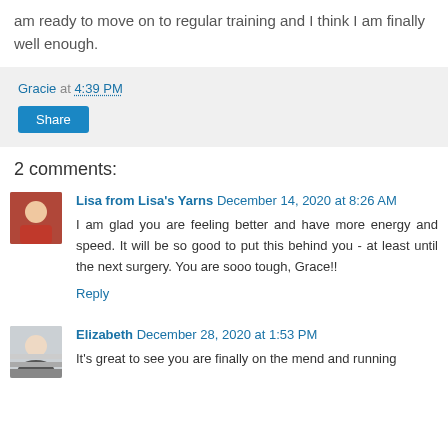am ready to move on to regular training and I think I am finally well enough.
Gracie at 4:39 PM
Share
2 comments:
Lisa from Lisa's Yarns December 14, 2020 at 8:26 AM
I am glad you are feeling better and have more energy and speed. It will be so good to put this behind you - at least until the next surgery. You are sooo tough, Grace!!
Reply
Elizabeth December 28, 2020 at 1:53 PM
It's great to see you are finally on the mend and running